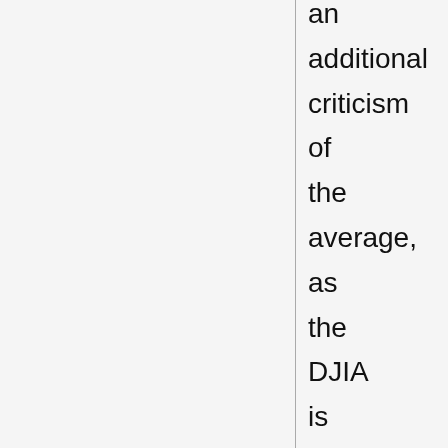an additional criticism of the average, as the DJIA is widely used as an indicator of